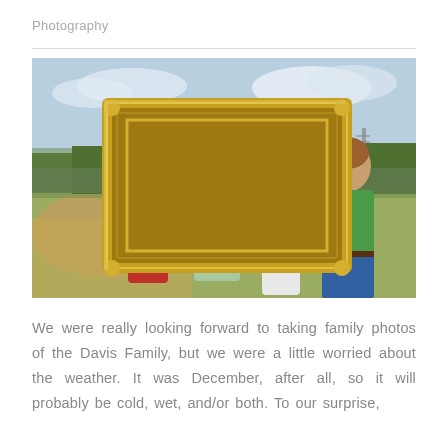Photography
[Figure (photo): A family of four people holding a large ornate gold picture frame outdoors in a field. A woman in red, a man in light green, a teenage girl in white, and a teenage boy in green stand behind and hold the frame, posed as if inside a portrait. The background shows brown grass, green trees, and a partly cloudy sky.]
We were really looking forward to taking family photos of the Davis Family, but we were a little worried about the weather. It was December, after all, so it will probably be cold, wet, and/or both. To our surprise,